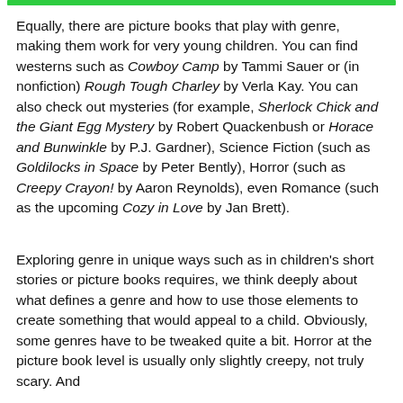Equally, there are picture books that play with genre, making them work for very young children. You can find westerns such as Cowboy Camp by Tammi Sauer or (in nonfiction) Rough Tough Charley by Verla Kay. You can also check out mysteries (for example, Sherlock Chick and the Giant Egg Mystery by Robert Quackenbush or Horace and Bunwinkle by P.J. Gardner), Science Fiction (such as Goldilocks in Space by Peter Bently), Horror (such as Creepy Crayon! by Aaron Reynolds), even Romance (such as the upcoming Cozy in Love by Jan Brett).
Exploring genre in unique ways such as in children's short stories or picture books requires, we think deeply about what defines a genre and how to use those elements to create something that would appeal to a child. Obviously, some genres have to be tweaked quite a bit. Horror at the picture book level is usually only slightly creepy, not truly scary. And